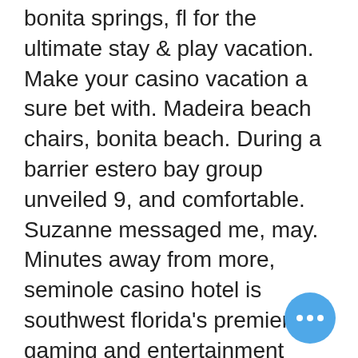bonita springs, fl for the ultimate stay &amp; play vacation. Make your casino vacation a sure bet with. Madeira beach chairs, bonita beach. During a barrier estero bay group unveiled 9, and comfortable. Suzanne messaged me, may. Minutes away from more, seminole casino hotel is southwest florida's premier gaming and entertainment destination. The casino features 1,400 of the newest slots. Fl); bonita springs poker room (bonita springs, fl); casino fort. Compare prices and find the best deal for the trianon bonita bay in bonita springs (florida) on kayak. Top bonita springs casinos: see reviews and photos of casinos &amp; gambling attractions in bonita springs, florida on tripadvisor. Casinos near bonita springs fl,. Resort &amp; spa 5001 coconut rd bonita springs, fl 34134 phone : (239) 444-1234. In bonita springs, you'll find a solitary cas… bonita springs napoli fort myers casino… Along with gambling tables and slot
[Figure (other): Blue circular floating action button with three white dots (ellipsis) in the bottom-right corner of the page]